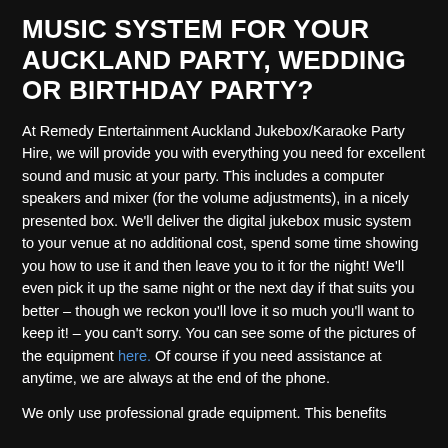MUSIC SYSTEM FOR YOUR AUCKLAND PARTY, WEDDING OR BIRTHDAY PARTY?
At Remedy Entertainment Auckland Jukebox/Karaoke Party Hire, we will provide you with everything you need for excellent sound and music at your party. This includes a computer speakers and mixer (for the volume adjustments), in a nicely presented box. We'll deliver the digital jukebox music system to your venue at no additional cost, spend some time showing you how to use it and then leave you to it for the night! We'll even pick it up the same night or the next day if that suits you better – though we reckon you'll love it so much you'll want to keep it! – you can't sorry. You can see some of the pictures of the equipment here. Of course if you need assistance at anytime, we are always at the end of the phone.
We only use professional grade equipment. This benefits